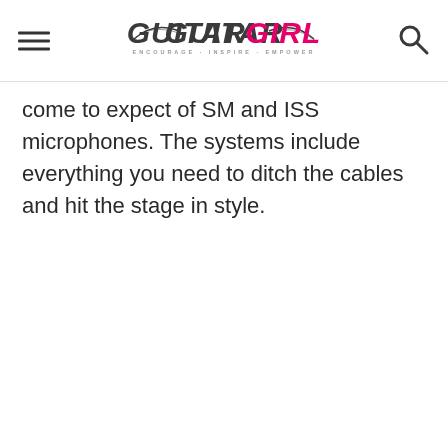Guitar Girl Magazine
come to expect of SM and ISS microphones. The systems include everything you need to ditch the cables and hit the stage in style.